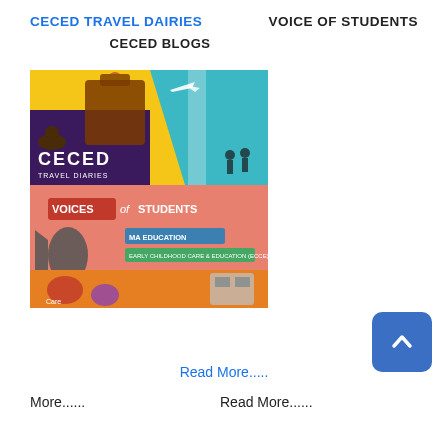CECED TRAVEL DAIRIES
VOICE OF STUDENTS
CECED BLOGS
[Figure (illustration): Magazine cover showing CECED Travel Diaries and Voices of Students publication with colorful graphics including camel, monument, airplane, and megaphone imagery]
Read More.....
More......
Read More......